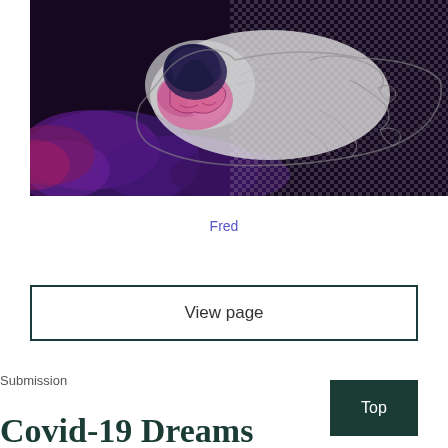[Figure (illustration): Artistic composite illustration showing a figure lying down with a stylized brain visible, overlaid with sketch-like pencil drawings on a dark purple nebula/space background with semi-transparent checkered overlay]
Fred
View page
Submission
Covid-19 Dreams
Top